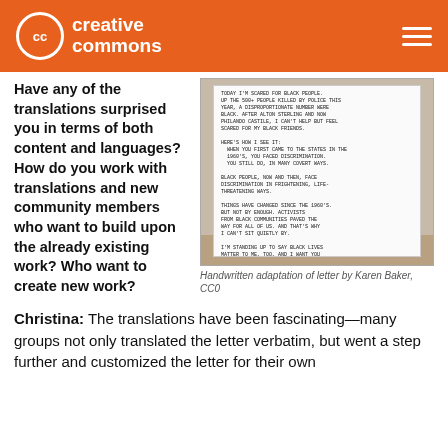Creative Commons
Have any of the translations surprised you in terms of both content and languages? How do you work with translations and new community members who want to build upon the already existing work? Who want to create new work?
[Figure (photo): Handwritten letter in a notebook on a wooden table]
Handwritten adaptation of letter by Karen Baker, CC0
Christina: The translations have been fascinating—many groups not only translated the letter verbatim, but went a step further and customized the letter for their own